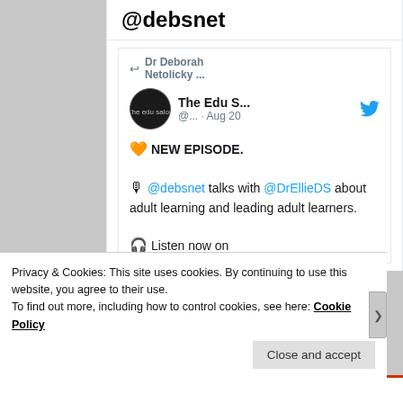@debsnet
Dr Deborah Netolicky ...
The Edu S... @... · Aug 20
🧡 NEW EPISODE.

🎙 @debsnet talks with @DrEllieDS about adult learning and leading adult learners.

🎧 Listen now on
Privacy & Cookies: This site uses cookies. By continuing to use this website, you agree to their use.
To find out more, including how to control cookies, see here: Cookie Policy
Close and accept